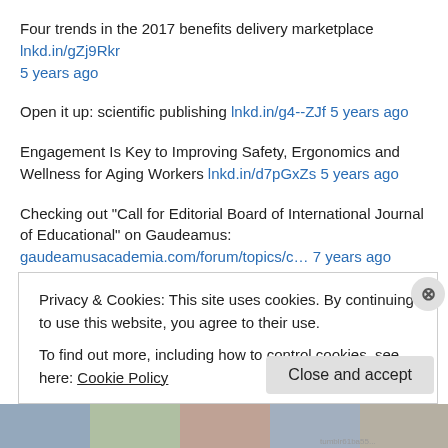Four trends in the 2017 benefits delivery marketplace lnkd.in/gZj9Rkr 5 years ago
Open it up: scientific publishing lnkd.in/g4--ZJf 5 years ago
Engagement Is Key to Improving Safety, Ergonomics and Wellness for Aging Workers lnkd.in/d7pGxZs 5 years ago
Checking out "Call for Editorial Board of International Journal of Educational" on Gaudeamus: gaudeamusacademia.com/forum/topics/c… 7 years ago
Checking out "CONFLUENCE V2" on Gaudeamus: gaudeamusacademia.com/events/conflue… 7 years ago
Privacy & Cookies: This site uses cookies. By continuing to use this website, you agree to their use.
To find out more, including how to control cookies, see here: Cookie Policy
Close and accept